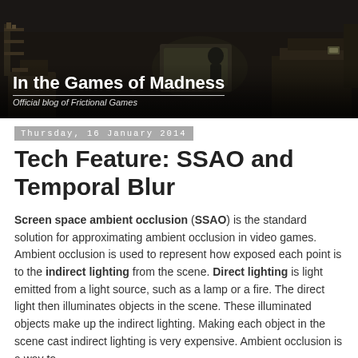[Figure (photo): Dark atmospheric banner image showing a cluttered room/workshop scene with a silhouetted figure. Overlaid with the blog title 'In the Games of Madness' and subtitle 'Official blog of Frictional Games'.]
Thursday, 16 January 2014
Tech Feature: SSAO and Temporal Blur
Screen space ambient occlusion (SSAO) is the standard solution for approximating ambient occlusion in video games. Ambient occlusion is used to represent how exposed each point is to the indirect lighting from the scene. Direct lighting is light emitted from a light source, such as a lamp or a fire. The direct light then illuminates objects in the scene. These illuminated objects make up the indirect lighting. Making each object in the scene cast indirect lighting is very expensive. Ambient occlusion is a way to